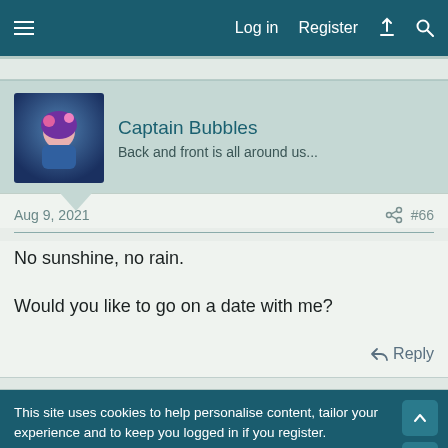Log in  Register
Captain Bubbles
Back and front is all around us...
Aug 9, 2021  #66
No sunshine, no rain.

Would you like to go on a date with me?
Reply
This site uses cookies to help personalise content, tailor your experience and to keep you logged in if you register.
By continuing to use this site, you are consenting to our use of cookies.
Accept  Learn more...